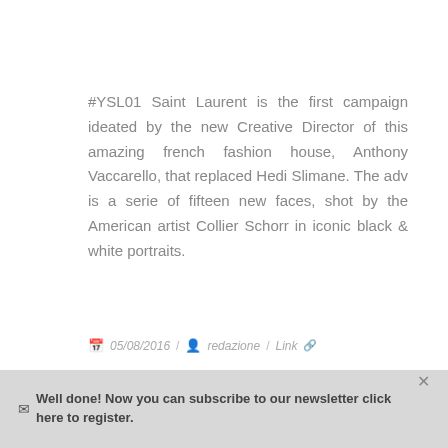#YSL01 Saint Laurent is the first campaign ideated by the new Creative Director of this amazing french fashion house, Anthony Vaccarello, that replaced Hedi Slimane. The adv is a serie of fifteen new faces, shot by the American artist Collier Schorr in iconic black & white portraits.
05/08/2016 / redazione / Link
Well done! Now you can subscribe to our newsletter click here to register.